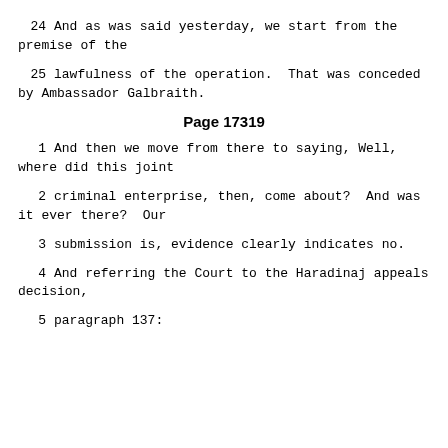24   And as was said yesterday, we start from the premise of the
25   lawfulness of the operation.  That was conceded by Ambassador Galbraith.
Page 17319
1   And then we move from there to saying, Well, where did this joint
2   criminal enterprise, then, come about?  And was it ever there?  Our
3   submission is, evidence clearly indicates no.
4   And referring the Court to the Haradinaj appeals decision,
5   paragraph 137: